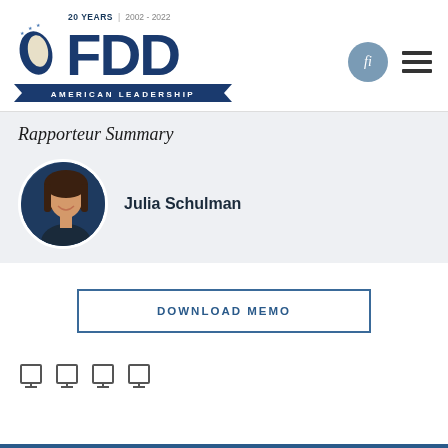[Figure (logo): FDD (Foundation for Defense of Democracies) logo with '20 YEARS | 2002 - 2022' text and 'AMERICAN LEADERSHIP' banner]
Rapporteur Summary
[Figure (photo): Circular portrait photo of Julia Schulman]
Julia Schulman
DOWNLOAD MEMO
[Figure (other): Social media share icons (4 icons)]